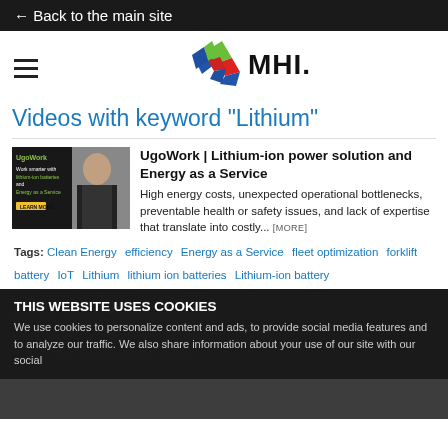← Back to the main site
[Figure (logo): MHI star logo with colorful star icon and MHI text]
Videos with keyword "Lithium"
[Figure (photo): UgoWork video thumbnail showing woman in black turtleneck with lithium-ion battery marketing text]
UgoWork | Lithium-ion power solution and Energy as a Service
High energy costs, unexpected operational bottlenecks, preventable health or safety issues, and lack of expertise that translate into costly... [MORE]
Tags: Clean Energy  efficiency  Energy as a Service  fleet optimization  forklift battery  IoT  Lithium  lithium ion batteries  Lithium-ion battery
THIS WEBSITE USES COOKIES
We use cookies to personalize content and ads, to provide social media features and to analyze our traffic. We also share information about your use of our site with our social